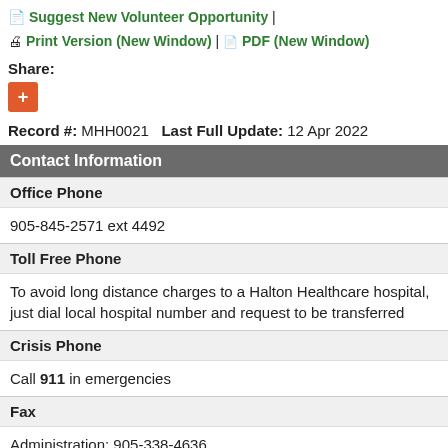Suggest New Volunteer Opportunity | Print Version (New Window) | PDF (New Window)
Share:
Record #: MHH0021   Last Full Update: 12 Apr 2022
| Field | Value |
| --- | --- |
| Contact Information |  |
| Office Phone |  |
|  | 905-845-2571 ext 4492 |
| Toll Free Phone |  |
|  | To avoid long distance charges to a Halton Healthcare hospital, just dial local hospital number and request to be transferred |
| Crisis Phone |  |
|  | Call 911 in emergencies |
| Fax |  |
|  | Administration: 905-338-4636 |
| Website |  |
|  | www.haltonhealthcare.on.ca/services_/28763/t28561- |